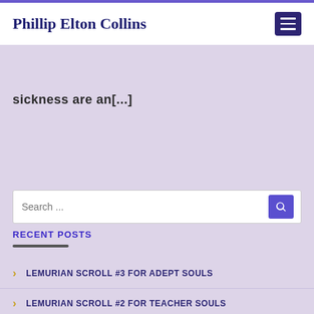Phillip Elton Collins
sickness are an[...]
Search ...
RECENT POSTS
LEMURIAN SCROLL #3 FOR ADEPT SOULS
LEMURIAN SCROLL #2 FOR TEACHER SOULS
ANCIENT LEMURIAN SCROLLS ACTIVATION/COMPLETION
NEW YEAR 2021 INVOCATION